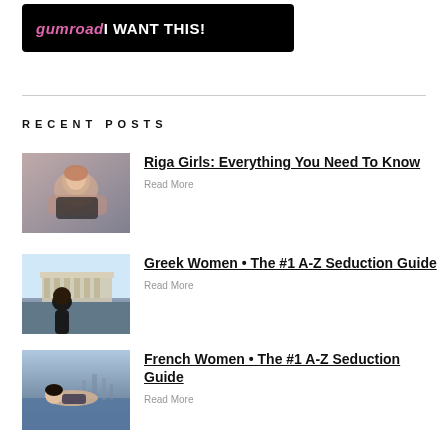[Figure (logo): Gumroad button with pink 'gumroad' logo text and white 'I WANT THIS!' text on black background]
RECENT POSTS
[Figure (photo): Woman lying on bed in black lingerie - Riga Girls article thumbnail]
Riga Girls: Everything You Need To Know
Read More
[Figure (photo): Woman looking at Parthenon in Athens - Greek Women article thumbnail]
Greek Women • The #1 A-Z Seduction Guide
Read More
[Figure (photo): Woman in water, cityscape background - French Women article thumbnail]
French Women • The #1 A-Z Seduction Guide
Read More